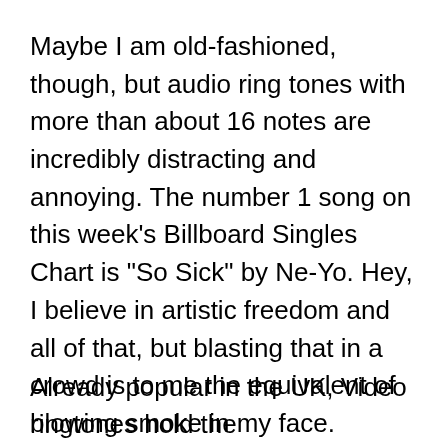Maybe I am old-fashioned, though, but audio ring tones with more than about 16 notes are incredibly distracting and annoying. The number 1 song on this week's Billboard Singles Chart is "So Sick" by Ne-Yo. Hey, I believe in artistic freedom and all of that, but blasting that in a crowd is to me the equivalent of blowing smoke in my face.
Already popular in the UK, Video ringtones hold the